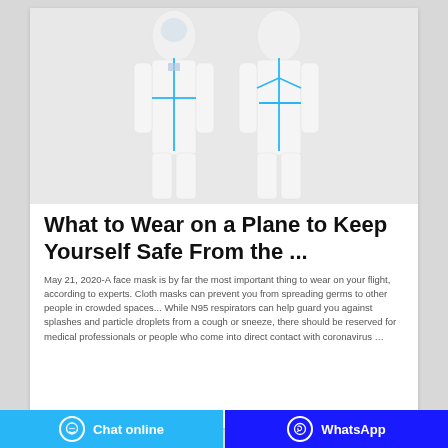[Figure (photo): Two people wearing white full-body protective hazmat suits with blue seam tape, shown from front and back views, against a light gray background.]
What to Wear on a Plane to Keep Yourself Safe From the ...
May 21, 2020-A face mask is by far the most important thing to wear on your flight, according to experts. Cloth masks can prevent you from spreading germs to other people in crowded spaces... While N95 respirators can help guard you against splashes and particle droplets from a cough or sneeze, there should be reserved for medical professionals or people who come into direct contact with coronavirus ...